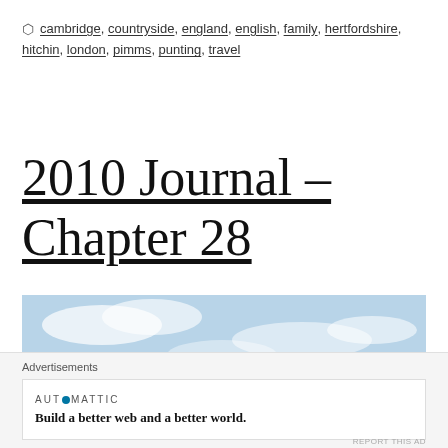cambridge, countryside, england, english, family, hertfordshire, hitchin, london, pimms, punting, travel
2010 Journal – Chapter 28
[Figure (photo): Photograph of a gothic-style building's spires against a light blue cloudy sky]
Advertisements
AUTOMATTIC
Build a better web and a better world.